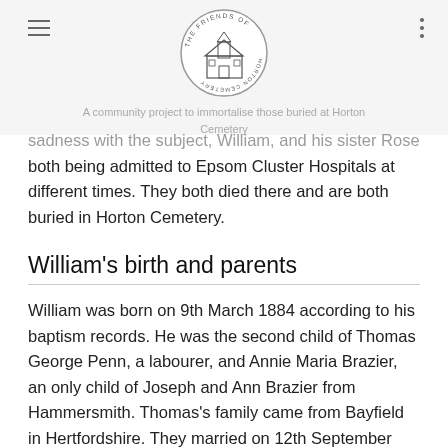A community project to immortalise those buried at Horton Cemetery
sadness with the subject, William, and his sister Rose both being admitted to Epsom Cluster Hospitals at different times. They both died there and are both buried in Horton Cemetery.
William's birth and parents
William was born on 9th March 1884 according to his baptism records. He was the second child of Thomas George Penn, a labourer, and Annie Maria Brazier, an only child of Joseph and Ann Brazier from Hammersmith. Thomas's family came from Bayfield in Hertfordshire. They married on 12th September 1880 at St Clements in Notting Hill, both aged 26 years. On 25th May 1884, William was baptised in the same church and the family was living at 261…